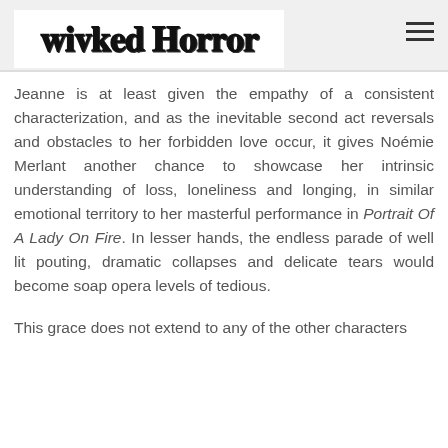Wicked Horror
Jeanne is at least given the empathy of a consistent characterization, and as the inevitable second act reversals and obstacles to her forbidden love occur, it gives Noémie Merlant another chance to showcase her intrinsic understanding of loss, loneliness and longing, in similar emotional territory to her masterful performance in Portrait Of A Lady On Fire. In lesser hands, the endless parade of well lit pouting, dramatic collapses and delicate tears would become soap opera levels of tedious.
This grace does not extend to any of the other characters